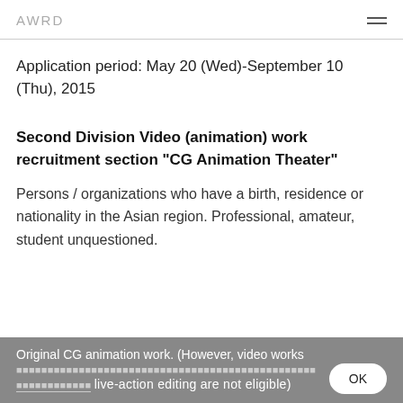AWRD
Application period: May 20 (Wed)-September 10 (Thu), 2015
Second Division Video (animation) work recruitment section "CG Animation Theater"
Persons / organizations who have a birth, residence or nationality in the Asian region. Professional, amateur, student unquestioned.
Original CG animation work. (However, video works live-action editing are not eligible)